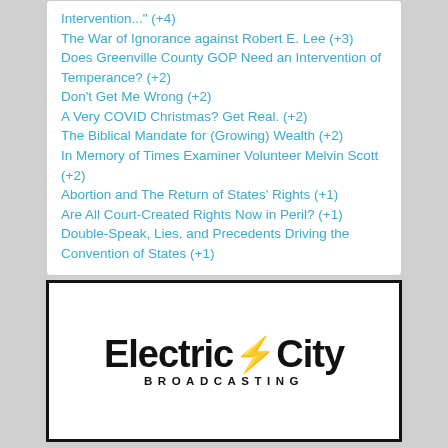Intervention..." (+4)
The War of Ignorance against Robert E. Lee (+3)
Does Greenville County GOP Need an Intervention of Temperance? (+2)
Don't Get Me Wrong  (+2)
A Very COVID Christmas? Get Real. (+2)
The Biblical Mandate for (Growing) Wealth (+2)
In Memory of Times Examiner Volunteer Melvin Scott (+2)
Abortion and The Return of States' Rights (+1)
Are All Court-Created Rights Now in Peril? (+1)
Double-Speak, Lies, and Precedents Driving the Convention of States (+1)
[Figure (logo): Electric City Broadcasting logo — large bold sans-serif text reading 'Electric City' with a lightning bolt between the two words, and 'BROADCASTING' in wide-spaced capitals below]